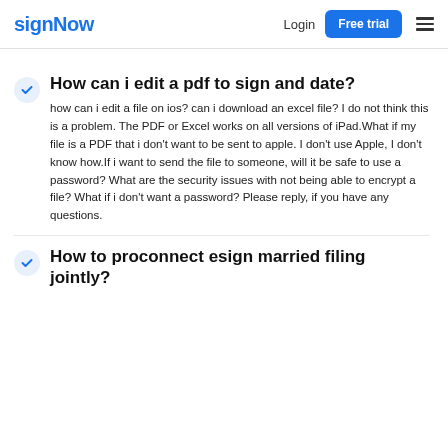signNow  Login  Free trial
How can i edit a pdf to sign and date?
how can i edit a file on ios? can i download an excel file? I do not think this is a problem. The PDF or Excel works on all versions of iPad.What if my file is a PDF that i don't want to be sent to apple. I don't use Apple, I don't know how.If i want to send the file to someone, will it be safe to use a password? What are the security issues with not being able to encrypt a file? What if i don't want a password? Please reply, if you have any questions.
How to proconnect esign married filing jointly?